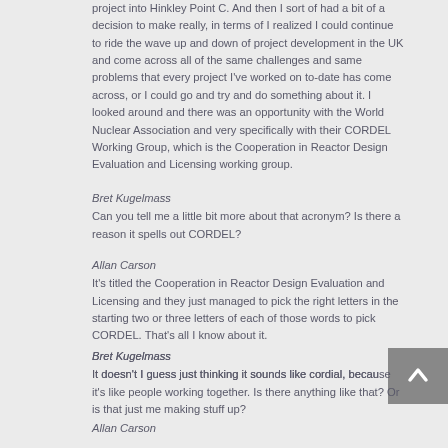project into Hinkley Point C. And then I sort of had a bit of a decision to make really, in terms of I realized I could continue to ride the wave up and down of project development in the UK and come across all of the same challenges and same problems that every project I've worked on to-date has come across, or I could go and try and do something about it. I looked around and there was an opportunity with the World Nuclear Association and very specifically with their CORDEL Working Group, which is the Cooperation in Reactor Design Evaluation and Licensing working group.
Bret Kugelmass
Can you tell me a little bit more about that acronym? Is there a reason it spells out CORDEL?
Allan Carson
It's titled the Cooperation in Reactor Design Evaluation and Licensing and they just managed to pick the right letters in the starting two or three letters of each of those words to pick CORDEL. That's all I know about it.
Bret Kugelmass
It doesn't I guess just thinking it sounds like cordial, because it's like people working together. Is there anything like that? Or is that just me making stuff up?
Allan Carson
If it is, it's before my time and then nobody's told me.
Bret Kugelmass